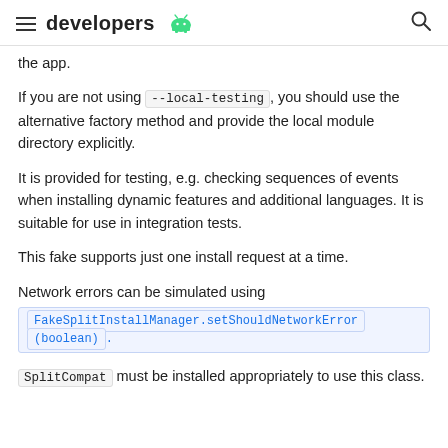developers
the app.
If you are not using --local-testing, you should use the alternative factory method and provide the local module directory explicitly.
It is provided for testing, e.g. checking sequences of events when installing dynamic features and additional languages. It is suitable for use in integration tests.
This fake supports just one install request at a time.
Network errors can be simulated using FakeSplitInstallManager.setShouldNetworkError(boolean).
SplitCompat must be installed appropriately to use this class.